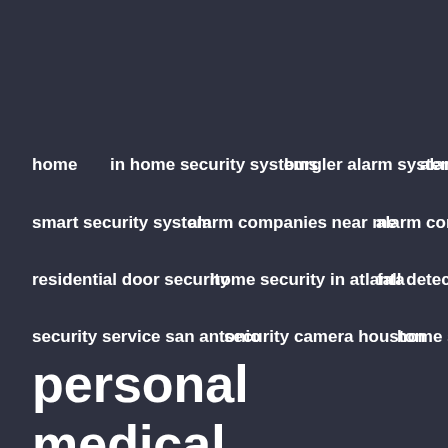home
in home security systems
burgler alarm system
alarm m
smart security system
alarm companies near me
alarm company m
residential door security
home security in atlanta
fall detection
security service san antonio
security camera houston
home securi
personal medical alarms
vivint is a well known home security company that does not charge installation fees and has solid security equipment and home automation systems.
personal med
This wo displeasi alarms, t combine detector. smoke de house.
surveillance system